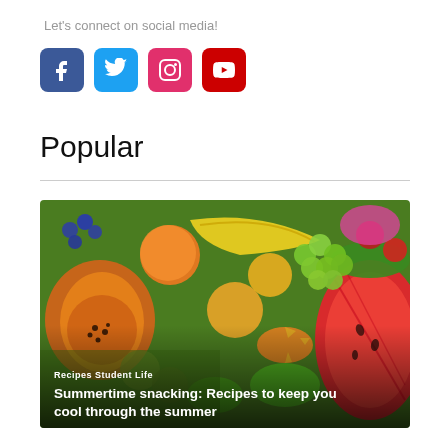Let's connect on social media!
[Figure (illustration): Four social media icons: Facebook (blue), Twitter (light blue), Instagram (pink/red), YouTube (red)]
Popular
[Figure (photo): Colorful assortment of tropical fruits including papaya, watermelon, grapes, bananas, mango, kiwi, and others. Overlaid text shows 'Recipes  Student Life' and title 'Summertime snacking: Recipes to keep you cool through the summer']